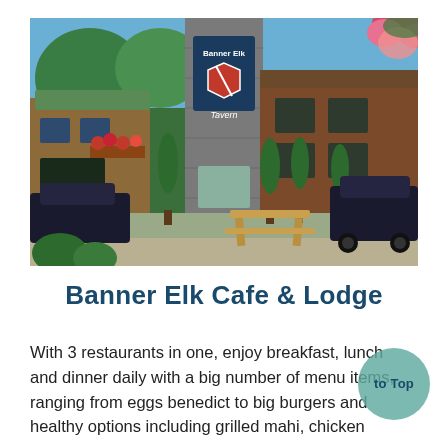[Figure (photo): Exterior photo of Banner Elk Tavern / Banner Elk Cafe & Lodge. A rustic log-style building with a tall stone chimney pillar displaying a shield-shaped 'Banner Elk Tavern' sign. Spiral topiary trees line the entrance, red flowers in window boxes, a wooden picnic bench in front. Cars parked on either side. Blue sky and trees visible. Pink and white hanging flowers in upper right corner.]
Banner Elk Cafe & Lodge
With 3 restaurants in one, enjoy breakfast, lunch and dinner daily with a big number of menu items, ranging from eggs benedict to big burgers and healthy options including grilled mahi, chicken